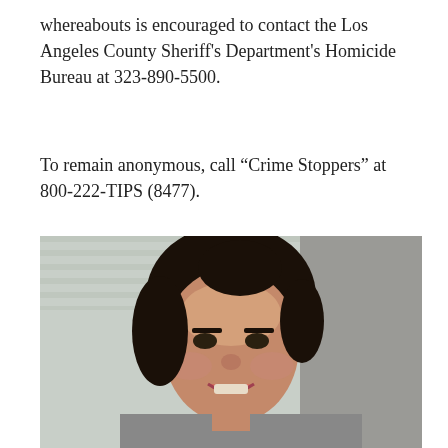whereabouts is encouraged to contact the Los Angeles County Sheriff's Department's Homicide Bureau at 323-890-5500.
To remain anonymous, call “Crime Stoppers” at 800-222-TIPS (8477).
[Figure (photo): Portrait photo of a young woman with dark curly hair pulled back, smiling, standing in front of a light-colored siding wall and doorframe.]